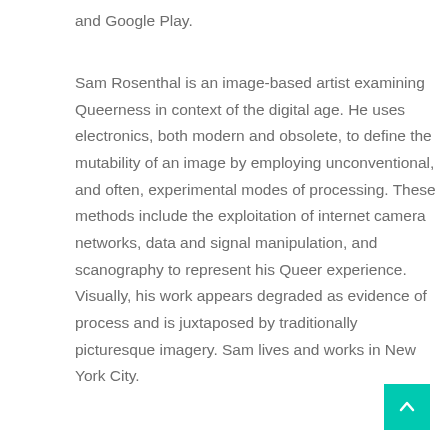and Google Play.
Sam Rosenthal is an image-based artist examining Queerness in context of the digital age. He uses electronics, both modern and obsolete, to define the mutability of an image by employing unconventional, and often, experimental modes of processing. These methods include the exploitation of internet camera networks, data and signal manipulation, and scanography to represent his Queer experience. Visually, his work appears degraded as evidence of process and is juxtaposed by traditionally picturesque imagery. Sam lives and works in New York City.